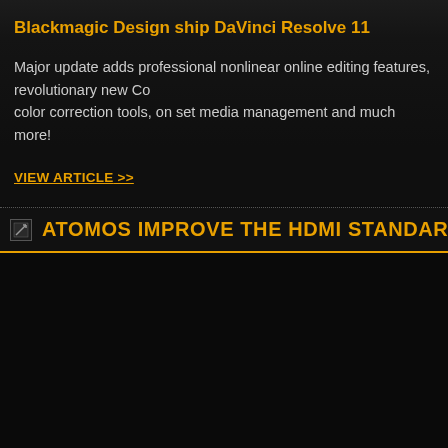Blackmagic Design ship DaVinci Resolve 11
Major update adds professional nonlinear online editing features, revolutionary new Co color correction tools, on set media management and much more!
VIEW ARTICLE >>
ATOMOS IMPROVE THE HDMI STANDARD FOR PR